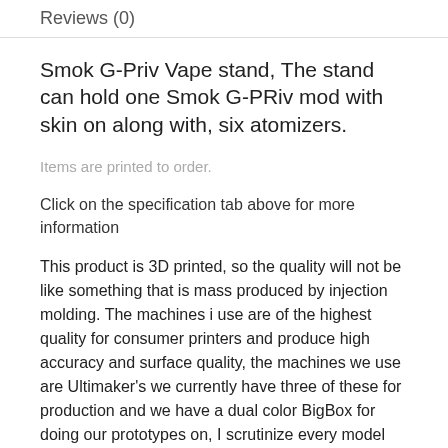Reviews (0)
Smok G-Priv Vape stand, The stand can hold one Smok G-PRiv mod with skin on along with, six atomizers.
Items are printed to order.
Click on the specification tab above for more information
This product is 3D printed, so the quality will not be like something that is mass produced by injection molding. The machines i use are of the highest quality for consumer printers and produce high accuracy and surface quality, the machines we use are Ultimaker's we currently have three of these for production and we have a dual color BigBox for doing our prototypes on, I scrutinize every model very closely. I only use the highest quality filament from a couple of suppliers these are Colorfabb & Filamentum, this ensures only quality products are produced.
Every item in the shop is test printed and checked for